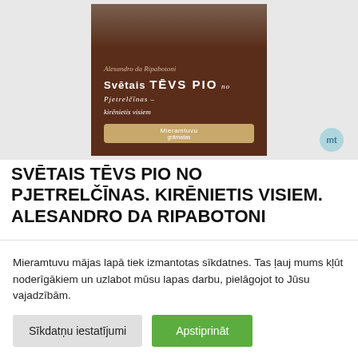[Figure (photo): Book cover of 'Svētais Tēvs Pio no Pjetrelčīnas – kirēnietis visiem' by Alesandro da Ripabotoni, dark brown cover with portrait at top, publisher badge, and 'mt' badge in bottom right corner]
SVĒTAIS TĒVS PIO NO PJETRELČĪNAS. KIRĒNIETIS VISIEM. ALESANDRO DA RIPABOTONI
€7.70
Mieramtuvu mājas lapā tiek izmantotas sīkdatnes. Tas ļauj mums kļūt noderīgākiem un uzlabot mūsu lapas darbu, pielāgojot to Jūsu vajadzībām.
Sīkdatņu iestatījumi
Apstiprināt